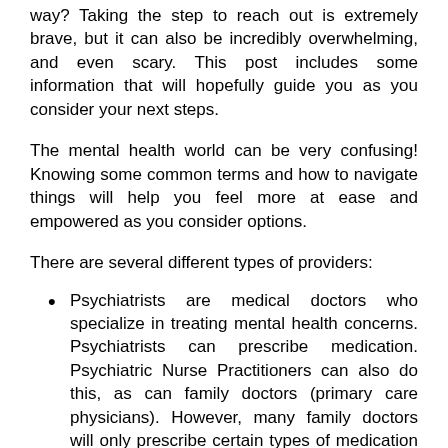way? Taking the step to reach out is extremely brave, but it can also be incredibly overwhelming, and even scary. This post includes some information that will hopefully guide you as you consider your next steps.
The mental health world can be very confusing! Knowing some common terms and how to navigate things will help you feel more at ease and empowered as you consider options.
There are several different types of providers:
Psychiatrists are medical doctors who specialize in treating mental health concerns. Psychiatrists can prescribe medication. Psychiatric Nurse Practitioners can also do this, as can family doctors (primary care physicians). However, many family doctors will only prescribe certain types of medication that are more commonly